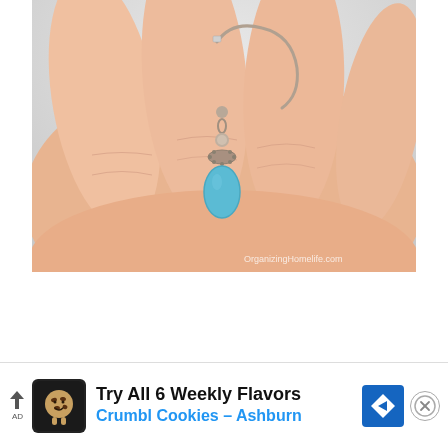[Figure (photo): Close-up photograph of a hand holding a turquoise drop earring with a silver decorative bead cap and fish hook ear wire. Watermark reads OrganizingHomelife.com in the bottom right corner.]
[Figure (infographic): Advertisement banner for Crumbl Cookies - Ashburn. Text reads 'Try All 6 Weekly Flavors' in bold black and 'Crumbl Cookies - Ashburn' in blue. Includes Crumbl cookie logo icon, a blue navigation arrow icon, and a close (X) button.]